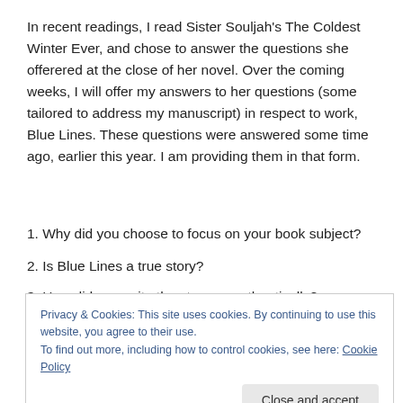In recent readings, I read Sister Souljah's The Coldest Winter Ever, and chose to answer the questions she offerered at the close of her novel. Over the coming weeks, I will offer my answers to her questions (some tailored to address my manuscript) in respect to work, Blue Lines. These questions were answered some time ago, earlier this year. I am providing them in that form.
1. Why did you choose to focus on your book subject?
2. Is Blue Lines a true story?
3. How did you write the story so authentically?
Privacy & Cookies: This site uses cookies. By continuing to use this website, you agree to their use.
To find out more, including how to control cookies, see here: Cookie Policy
6. Which character did you create first?